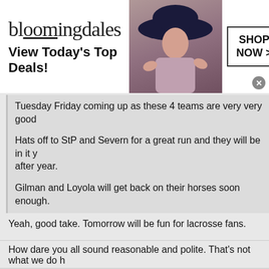[Figure (screenshot): Bloomingdale's advertisement banner: logo text 'bloomingdales', tagline 'View Today's Top Deals!', woman in hat, 'SHOP NOW >' button]
Tuesday Friday coming up as these 4 teams are very very good
Hats off to StP and Severn for a great run and they will be in it year after year.
Gilman and Loyola will get back on their horses soon enough.
Yeah, good take. Tomorrow will be fun for lacrosse fans.
How dare you all sound reasonable and polite. That’s not what we do h
[Figure (screenshot): Amazon advertisement: 'Amazon.com: Online Shopping for Everyone', Shop at Amazon. Free Shipping with Prime. Best Deals Ever!, amazon.com, with Amazon logo and arrow button]